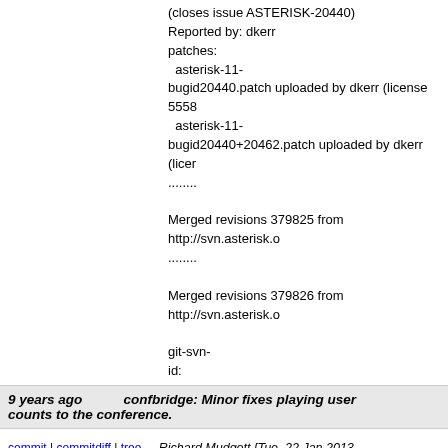(closes issue ASTERISK-20440)
Reported by: dkerr
patches:
  asterisk-11-bugid20440.patch uploaded by dkerr (license 5558)
  asterisk-11-bugid20440+20462.patch uploaded by dkerr (lice...
........

Merged revisions 379825 from http://svn.asterisk.o...
........

Merged revisions 379826 from http://svn.asterisk.o...

git-svn-id: https://origsvn.digium.com/svn/asterisk/trunk@6c06-0410-ace0-fbb531ad65f3
9 years ago    confbridge: Minor fixes playing user counts to the conference.
commit | commitdiff | tree    Richard Mudgett [Tue, 22 Jan 2013 00:36:52 +0000 (00:36 +0000)]
confbridge: Minor fixes playing user counts to the...

* Generate a warning message if sound files do no... play the user count to the conference.  Use the ne... sound  file  exists() for consistency.